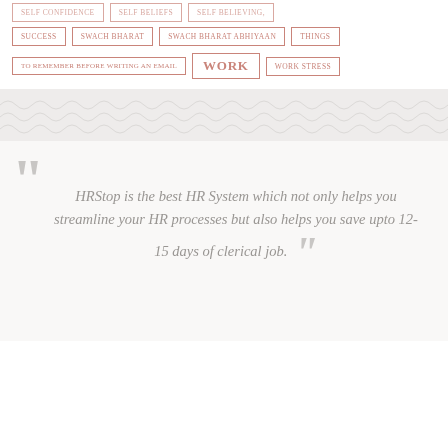SELF CONFIDENCE, SELF BELIEFS, SELF BELIEVING,
SUCCESS, SWACH BHARAT, SWACH BHARAT ABHIYAAN, THINGS
TO REMEMBER BEFORE WRITING AN EMAIL, WORK, WORK STRESS
HRStop is the best HR System which not only helps you streamline your HR processes but also helps you save upto 12-15 days of clerical job.